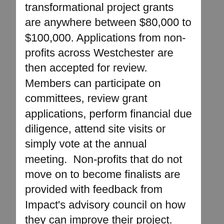transformational project grants are anywhere between $80,000 to $100,000. Applications from non-profits across Westchester are then accepted for review. Members can participate on committees, review grant applications, perform financial due diligence, attend site visits or simply vote at the annual meeting.  Non-profits that do not move on to become finalists are provided with feedback from Impact's advisory council on how they can improve their project. Grant finalists present their projects and the entire membership votes at the annual meeting.
Chappaqua resident Rachel Rader who just completed her third year at Impact says that the flexibility was one of the things that really appealed to her. “I liked the fact that I could write a check and be as involved or uninvolved as I want and then throw myself into it as time allows.” Rader has co-